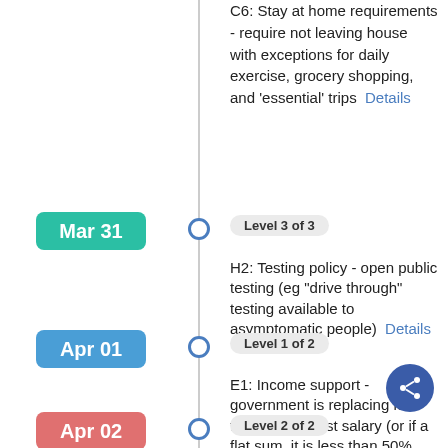C6: Stay at home requirements - require not leaving house with exceptions for daily exercise, grocery shopping, and 'essential' trips  Details
Mar 31
Level 3 of 3
H2: Testing policy - open public testing (eg "drive through" testing available to asymptomatic people)  Details
Apr 01
Level 1 of 2
E1: Income support - government is replacing less than 50% of lost salary (or if a flat sum, it is less than 50% median salary)  Details
Apr 02
Level 2 of 2